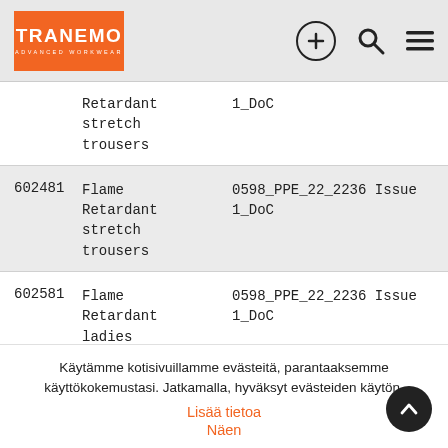TRANEMO ADVANCED WORKWEAR
| ID | Name | Document |
| --- | --- | --- |
|  | Retardant stretch trousers | 1_DoC |
| 602481 | Flame Retardant stretch trousers | 0598_PPE_22_2236 Issue 1_DoC |
| 602581 | Flame Retardant ladies stretch | 0598_PPE_22_2236 Issue 1_DoC |
Käytämme kotisivuillamme evästeitä, parantaaksemme käyttökokemustasi. Jatkamalla, hyväksyt evästeiden käytön.
Lisää tietoa
Näen